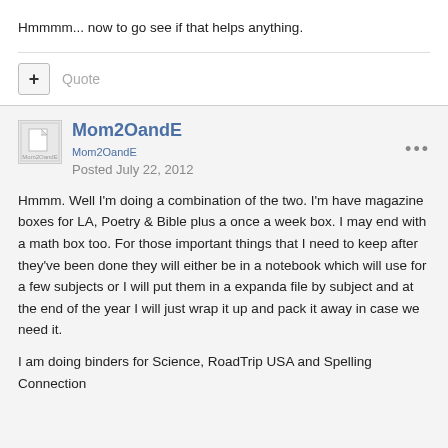Hmmmm... now to go see if that helps anything.
Mom2OandE
Posted July 22, 2012
Hmmm. Well I'm doing a combination of the two. I'm have magazine boxes for LA, Poetry & Bible plus a once a week box. I may end with a math box too. For those important things that I need to keep after they've been done they will either be in a notebook which will use for a few subjects or I will put them in a expanda file by subject and at the end of the year I will just wrap it up and pack it away in case we need it.
I am doing binders for Science, RoadTrip USA and Spelling Connection